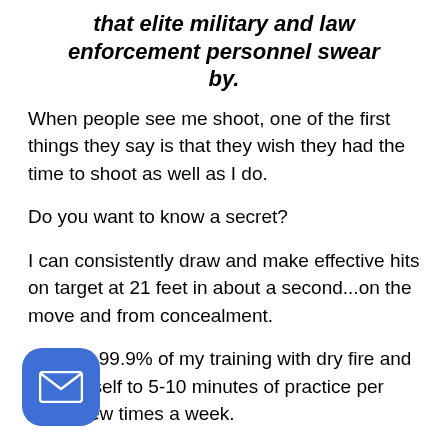that elite military and law enforcement personnel swear by.
When people see me shoot, one of the first things they say is that they wish they had the time to shoot as well as I do.
Do you want to know a secret?
I can consistently draw and make effective hits on target at 21 feet in about a second...on the move and from concealment.
But I do 99.9% of my training with dry fire and limit myself to 5-10 minutes of practice per day, a few times a week.
[Figure (illustration): Blue rounded square button with white email/envelope icon]